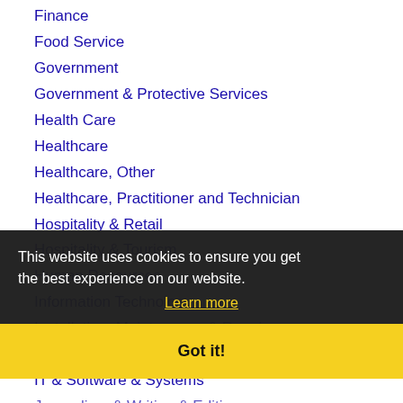Finance
Food Service
Government
Government & Protective Services
Health Care
Healthcare
Healthcare, Other
Healthcare, Practitioner and Technician
Hospitality & Retail
Hospitality & Tourism
Human Resources
Information Technology
Installation, Maintenance & Repair
Insurance
IT & Software & Systems
Journalism & Writing & Editing
Labor
Labor & Trades
Law Enforcement
Legal
Library & Museum
This website uses cookies to ensure you get the best experience on our website. Learn more Got it!